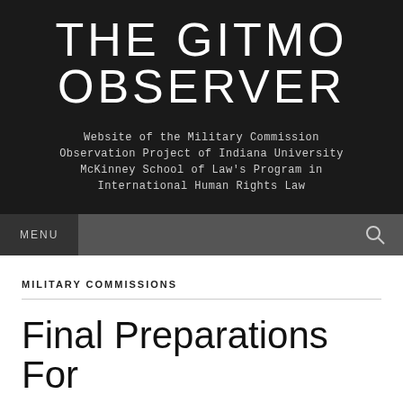THE GITMO OBSERVER
Website of the Military Commission Observation Project of Indiana University McKinney School of Law's Program in International Human Rights Law
MENU
MILITARY COMMISSIONS
Final Preparations For